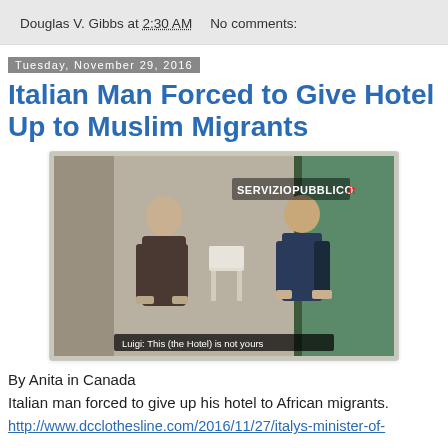Douglas V. Gibbs at 2:30 AM   No comments:
Tuesday, November 29, 2016
Italian Man Forced to Give Hotel Up to Muslim Migrants
[Figure (photo): Video screenshot showing two men at a hotel doorway. Subtitle reads: 'Luigi: This (the Hotel) is not yours'. Watermark reads 'SERVIZIOPUBBLICO'.]
By Anita in Canada
Italian man forced to give up his hotel to African migrants.
http://www.dcclothesline.com/2016/11/27/italys-minister-of-